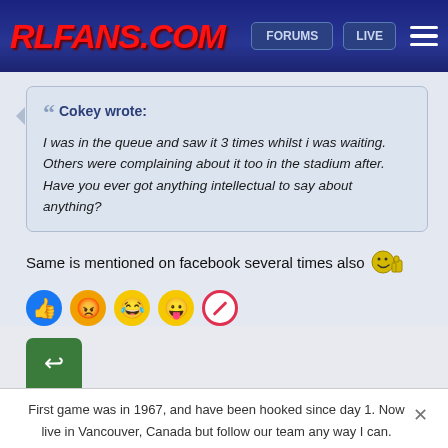RLFANS.COM | FORUMS | LIVE
Cokey wrote: I was in the queue and saw it 3 times whilst i was waiting. Others were complaining about it too in the stadium after. Have you ever got anything intellectual to say about anything?
Same is mentioned on facebook several times also
[Figure (illustration): Row of reaction emoji buttons: thumbs up (blue), angry (orange-red), laughing (yellow), tongue out (yellow), and a no/block symbol (red circle with line)]
[Figure (illustration): Green reply button with curved arrow icon]
First game was in 1967, and have been hooked since day 1. Now live in Vancouver, Canada but follow our team any way I can. "Up The Comics !"
Re: Where have all the fans gone?